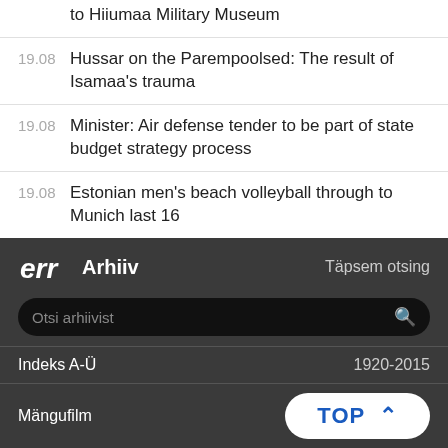to Hiiumaa Military Museum
19.08	Hussar on the Parempoolsed: The result of Isamaa's trauma
19.08	Minister: Air defense tender to be part of state budget strategy process
19.08	Estonian men's beach volleyball through to Munich last 16
19.08	High jumper Karmen Bruus fails to reach Munich final
ERR Arhiiv | Täpsem otsing | Otsi arhiivist | Indeks A-Ü | 1920-2015 | Mängufilm | TOP